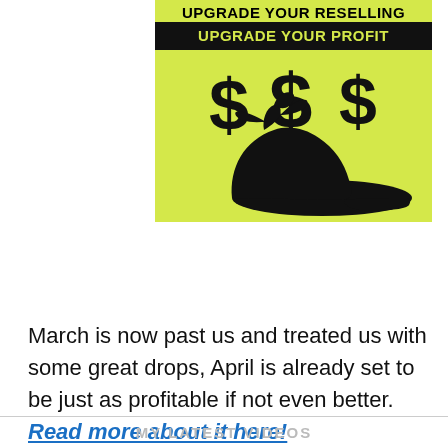[Figure (illustration): Promotional banner with yellow-green background showing silhouette of a sneaker with dollar signs ($$$$) above it. Top text reads 'UPGRADE YOUR RESELLING' in black on yellow background, followed by black bar with 'UPGRADE YOUR PROFIT' in yellow text.]
March is now past us and treated us with some great drops, April is already set to be just as profitable if not even better. Read more about it here!
MY LATEST VIDEOS